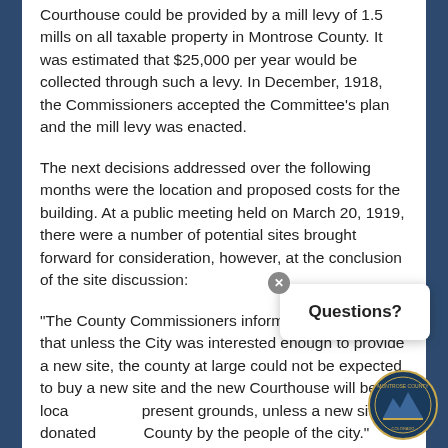The Committee further agreed that funding for the new Courthouse could be provided by a mill levy of 1.5 mills on all taxable property in Montrose County. It was estimated that $25,000 per year would be collected through such a levy. In December, 1918, the Commissioners accepted the Committee's plan and the mill levy was enacted.
The next decisions addressed over the following months were the location and proposed costs for the building. At a public meeting held on March 20, 1919, there were a number of potential sites brought forward for consideration, however, at the conclusion of the site discussion:
“The County Commissioners informed the meeting that unless the City was interested enough to provide a new site, the county at large could not be expected to buy a new site and the new Courthouse will be located on the present grounds, unless a new site is donated to the County by the people of the city.”
It was also decided by the public that a $125,000 project cost would be sufficient to provide the level of quality expected for their new “memorial civic center”. A small